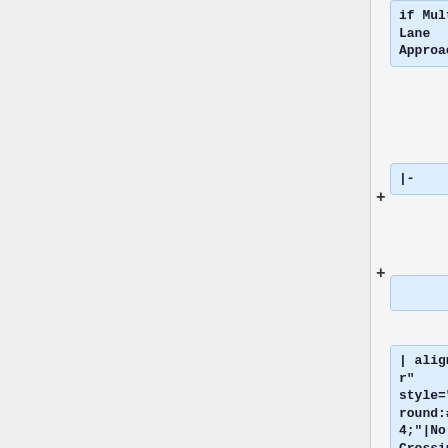if Multi-Lane Approach''
+ |-
+
| align="center" style="background:#7FFFD4;"|No Crossing Guard <!-- column 1 occupied by cell A -->
+ | align="center"